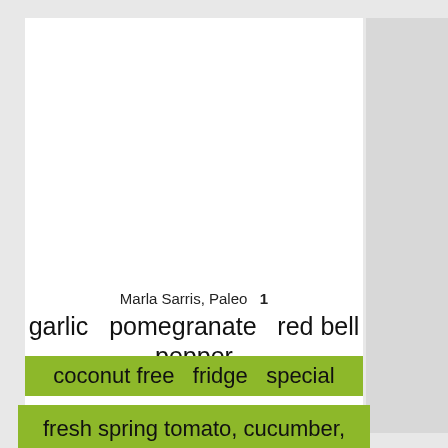Marla Sarris, Paleo  1
garlic  pomegranate  red bell pepper
coconut free  fridge  special
fresh spring tomato, cucumber, red onion and basil salad